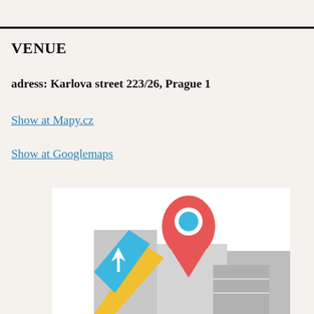VENUE
adress: Karlova street 223/26, Prague 1
Show at Mapy.cz
Show at Googlemaps
[Figure (map): Map illustration with a red location pin marker and colorful map tiles in grey, blue, and yellow.]